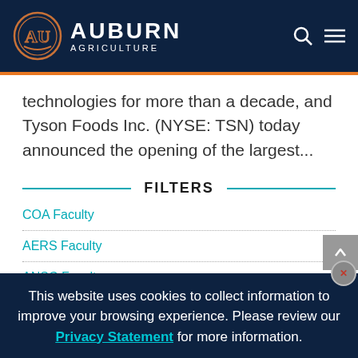Auburn Agriculture
technologies for more than a decade, and Tyson Foods Inc. (NYSE: TSN) today announced the opening of the largest...
FILTERS
COA Faculty
AERS Faculty
ANSC Faculty
This website uses cookies to collect information to improve your browsing experience. Please review our Privacy Statement for more information.